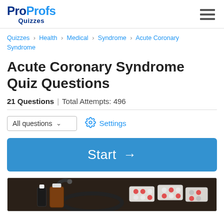ProProfs Quizzes
Quizzes › Health › Medical › Syndrome › Acute Coronary Syndrome
Acute Coronary Syndrome Quiz Questions
21 Questions | Total Attempts: 496
All questions  ⌄    ⚙ Settings
Start →
[Figure (photo): Medical photo showing stethoscope, medication bottles and pill blister packs on a dark background]